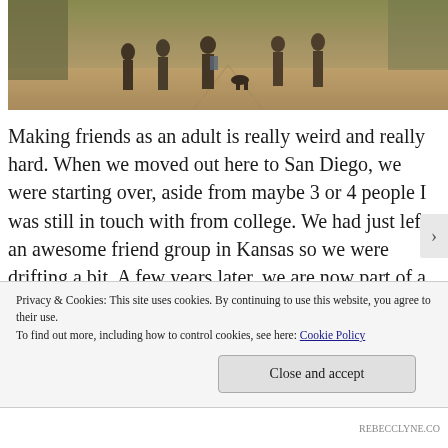[Figure (photo): Photo of a group of people and a dog walking on a dirt path, taken in warm golden light with trees/brush in background]
Making friends as an adult is really weird and really hard. When we moved out here to San Diego, we were starting over, aside from maybe 3 or 4 people I was still in touch with from college. We had just left an awesome friend group in Kansas so we were drifting a bit. A few years later, we are now part of a #squad and I couldn't be happier. I know that like most things in life, this friend group will wax and wane, but for the
Privacy & Cookies: This site uses cookies. By continuing to use this website, you agree to their use.
To find out more, including how to control cookies, see here: Cookie Policy
Close and accept